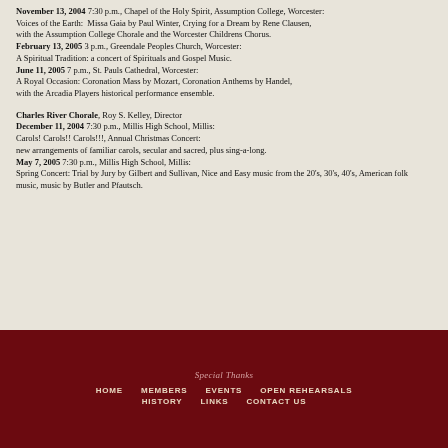November 13, 2004 7:30 p.m., Chapel of the Holy Spirit, Assumption College, Worcester:
Voices of the Earth:  Missa Gaia by Paul Winter, Crying for a Dream by Rene Clausen,
with the Assumption College Chorale and the Worcester Childrens Chorus.
February 13, 2005 3 p.m., Greendale Peoples Church, Worcester:
A Spiritual Tradition: a concert of Spirituals and Gospel Music.
June 11, 2005 7 p.m., St. Pauls Cathedral, Worcester:
A Royal Occasion: Coronation Mass by Mozart, Coronation Anthems by Handel,
with the Arcadia Players historical performance ensemble.
Charles River Chorale, Roy S. Kelley, Director
December 11, 2004 7:30 p.m., Millis High School, Millis:
Carols! Carols!! Carols!!!, Annual Christmas Concert:
new arrangements of familiar carols, secular and sacred, plus sing-a-long.
May 7, 2005 7:30 p.m., Millis High School, Millis:
Spring Concert: Trial by Jury by Gilbert and Sullivan, Nice and Easy music from the 20's, 30's, 40's, American folk music, music by Butler and Pfautsch.
Special Thanks
HOME   MEMBERS   EVENTS   OPEN REHEARSALS
HISTORY   LINKS   CONTACT US